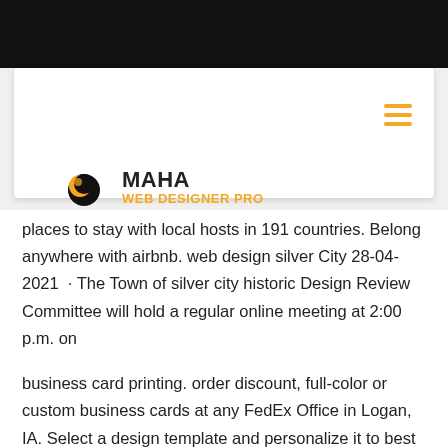[Figure (logo): Maha Web Designer Pro logo with crescent/swirl icon in orange and black]
places to stay with local hosts in 191 countries. Belong anywhere with airbnb. web design silver City 28-04-2021 · The Town of silver city historic Design Review Committee will hold a regular online meeting at 2:00 p.m. on
business card printing. order discount, full-color or custom business cards at any FedEx Office in Logan, IA. Select a design template and personalize it to best  …
Web Design Ames Ne … How to be a writer How much do cats actually kill? [Infographic] I tried to watch Game of Thrones and